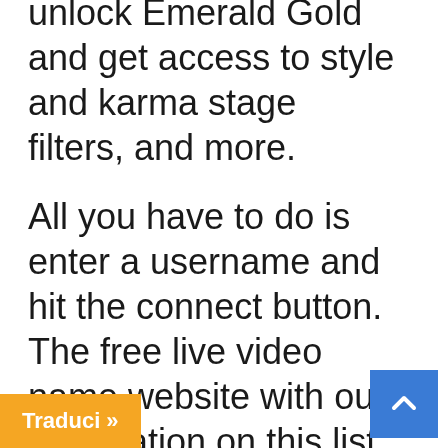unlock Emerald Gold and get access to style and karma stage filters, and more.
All you have to do is enter a username and hit the connect button. The free live video name website with out registration on this list is Chat.com. The benefit of the location is that you could engage in HD streams and see the other party. Its personal chat is so